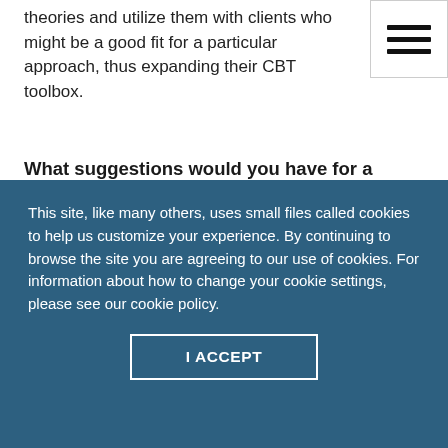theories and utilize them with clients who might be a good fit for a particular approach, thus expanding their CBT toolbox.
What suggestions would you have for a practitioner who is just starting out and is interested in using CBT with clients? What should they keep in mind?
New practitioners who are just beginning and are
This site, like many others, uses small files called cookies to help us customize your experience. By continuing to browse the site you are agreeing to our use of cookies. For information about how to change your cookie settings, please see our cookie policy.
I ACCEPT